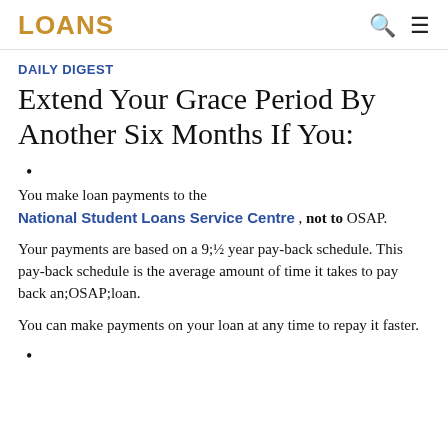LOANS
DAILY DIGEST
Extend Your Grace Period By Another Six Months If You:
You make loan payments to the National Student Loans Service Centre , not to OSAP.
Your payments are based on a 9;½ year pay-back schedule. This pay-back schedule is the average amount of time it takes to pay back an;OSAP;loan.
You can make payments on your loan at any time to repay it faster.